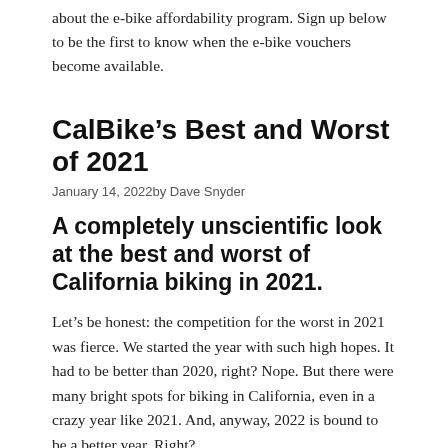about the e-bike affordability program. Sign up below to be the first to know when the e-bike vouchers become available.
CalBike’s Best and Worst of 2021
January 14, 2022by Dave Snyder
A completely unscientific look at the best and worst of California biking in 2021.
Let’s be honest: the competition for the worst in 2021 was fierce. We started the year with such high hopes. It had to be better than 2020, right? Nope. But there were many bright spots for biking in California, even in a crazy year like 2021. And, anyway, 2022 is bound to be a better year. Right?